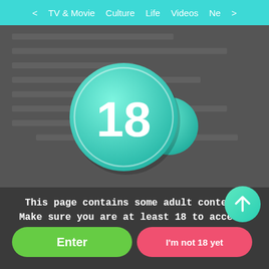< TV & Movie  Culture  Life  Videos  Ne >
[Figure (illustration): Age restriction badge showing '18+' in a green gradient circle with a smaller '+' bubble, on a blurred dark background]
This page contains some adult content.
Make sure you are at least 18 to access.
Enter
I'm not 18 yet